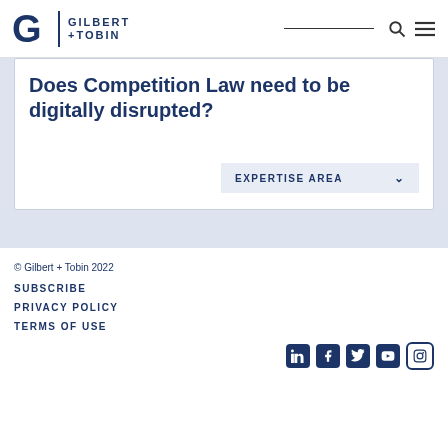Gilbert + Tobin
Does Competition Law need to be digitally disrupted?
EXPERTISE AREA
← BACK TO ALL KNOWLEDGE PUBLICATIONS
© Gilbert + Tobin 2022
SUBSCRIBE
PRIVACY POLICY
TERMS OF USE